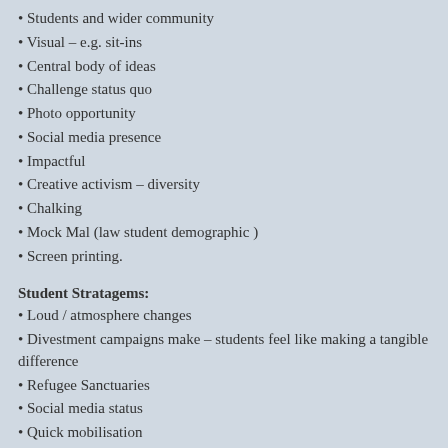Students and wider community
Visual – e.g. sit-ins
Central body of ideas
Challenge status quo
Photo opportunity
Social media presence
Impactful
Creative activism – diversity
Chalking
Mock Mal (law student demographic )
Screen printing.
Student Stratagems:
Loud / atmosphere changes
Divestment campaigns make – students feel like making a tangible difference
Refugee Sanctuaries
Social media status
Quick mobilisation
Access to creative / talented people – use this – residential colleges
Change people's minds
Make those in charge know people's minds are changing Need to